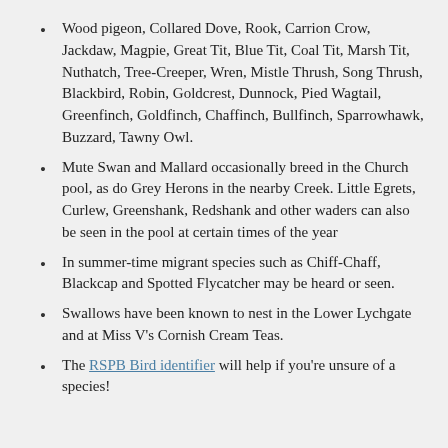Wood pigeon, Collared Dove, Rook, Carrion Crow, Jackdaw, Magpie, Great Tit, Blue Tit, Coal Tit, Marsh Tit, Nuthatch, Tree-Creeper, Wren, Mistle Thrush, Song Thrush, Blackbird, Robin, Goldcrest, Dunnock, Pied Wagtail, Greenfinch, Goldfinch, Chaffinch, Bullfinch, Sparrowhawk, Buzzard, Tawny Owl.
Mute Swan and Mallard occasionally breed in the Church pool, as do Grey Herons in the nearby Creek. Little Egrets, Curlew, Greenshank, Redshank and other waders can also be seen in the pool at certain times of the year
In summer-time migrant species such as Chiff-Chaff, Blackcap and Spotted Flycatcher may be heard or seen.
Swallows have been known to nest in the Lower Lychgate and at Miss V's Cornish Cream Teas.
The RSPB Bird identifier will help if you're unsure of a species!